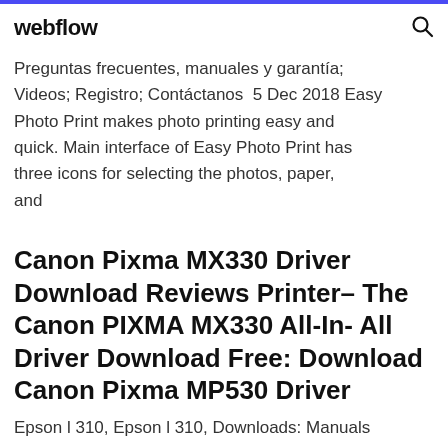webflow
Preguntas frecuentes, manuales y garantía; Videos; Registro; Contáctanos 5 Dec 2018 Easy Photo Print makes photo printing easy and quick. Main interface of Easy Photo Print has three icons for selecting the photos, paper, and
Canon Pixma MX330 Driver Download Reviews Printer– The Canon PIXMA MX330 All-In- All Driver Download Free: Download Canon Pixma MP530 Driver
Epson l 310, Epson l 310, Downloads: Manuals